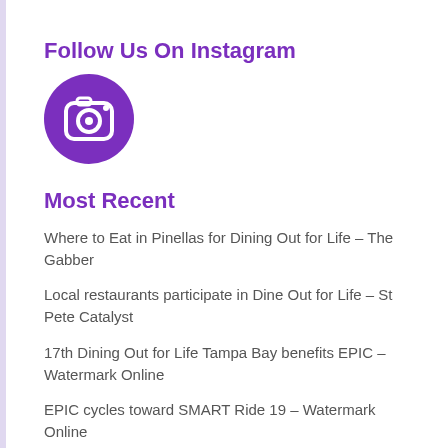Follow Us On Instagram
[Figure (logo): Purple circle with white Instagram camera icon]
Most Recent
Where to Eat in Pinellas for Dining Out for Life – The Gabber
Local restaurants participate in Dine Out for Life – St Pete Catalyst
17th Dining Out for Life Tampa Bay benefits EPIC – Watermark Online
EPIC cycles toward SMART Ride 19 – Watermark Online
Empath Partners in Care (EPIC) Seeks Community